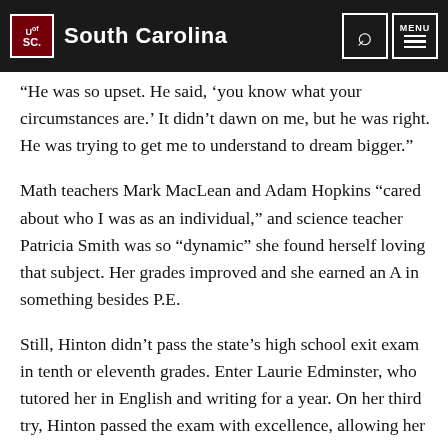University of South Carolina
“He was so upset. He said, ‘you know what your circumstances are.’ It didn’t dawn on me, but he was right. He was trying to get me to understand to dream bigger.”
Math teachers Mark MacLean and Adam Hopkins “cared about who I was as an individual,” and science teacher Patricia Smith was so “dynamic” she found herself loving that subject. Her grades improved and she earned an A in something besides P.E.
Still, Hinton didn’t pass the state’s high school exit exam in tenth or eleventh grades. Enter Laurie Edminster, who tutored her in English and writing for a year. On her third try, Hinton passed the exam with excellence, allowing her to